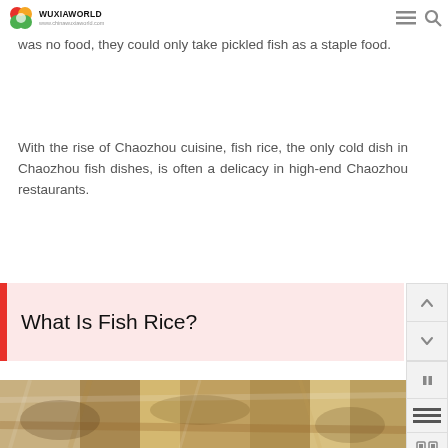WUXIAWORLD www.chinawuxiaworld.com
eaten by poor families on the coast of Chaoshan-because there was no food, they could only take pickled fish as a staple food.
With the rise of Chaozhou cuisine, fish rice, the only cold dish in Chaozhou fish dishes, is often a delicacy in high-end Chaozhou restaurants.
What Is Fish Rice?
[Figure (photo): Close-up photo of fish rice dish, showing fish with golden/brown tones]